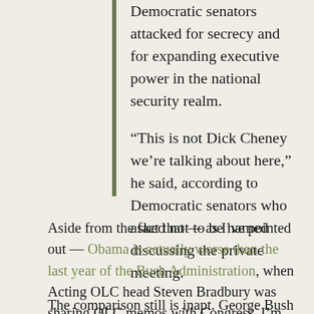Democratic senators attacked for secrecy and for expanding executive power in the national security realm.
“This is not Dick Cheney we’re talking about here,” he said, according to Democratic senators who asked not to be named discussing the private meeting.
Aside from the fact that — as I’ve pointed out — Obama is actually worse than the last year of the Bush Administration, when Acting OLC head Steven Bradbury was sharing OLC memos with Congress, I’m struck that Obama seems to forget he is the President, not the Vice President.
The comparison still is inapt. George Bush didn’t